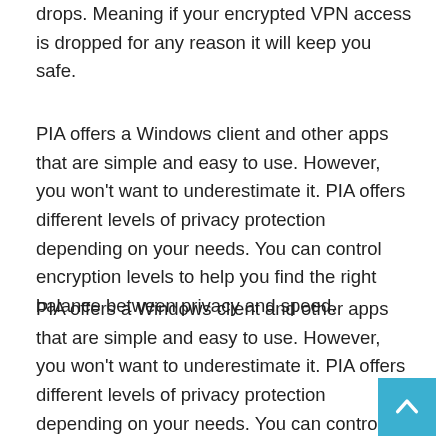drops. Meaning if your encrypted VPN access is dropped for any reason it will keep you safe.
PIA offers a Windows client and other apps that are simple and easy to use. However, you won't want to underestimate it. PIA offers different levels of privacy protection depending on your needs. You can control encryption levels to help you find the right balance between privacy and speed.
PIA offers a Windows client and other apps that are simple and easy to use. However, you won't want to underestimate it. PIA offers different levels of privacy protection depending on your needs. You can control encryption levels to help you find the right balance between privacy and speed.